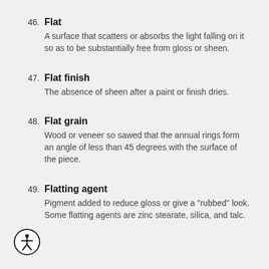46. Flat — A surface that scatters or absorbs the light falling on it so as to be substantially free from gloss or sheen.
47. Flat finish — The absence of sheen after a paint or finish dries.
48. Flat grain — Wood or veneer so sawed that the annual rings form an angle of less than 45 degrees with the surface of the piece.
49. Flatting agent — Pigment added to reduce gloss or give a "rubbed" look. Some flatting agents are zinc stearate, silica, and talc.